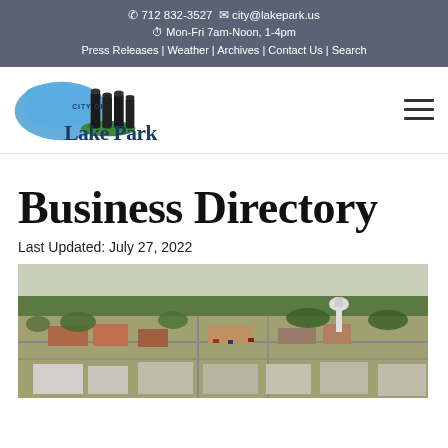712 832-3527  city@lakepark.us  Mon-Fri 7am-Noon, 1-4pm  Press Releases | Weather | Archives | Contact Us | Search
[Figure (logo): City of Lake Park logo — blue lake outline with grain silos and green hill, text 'CITY OF Lake Park' in navy blue]
Business Directory
Last Updated: July 27, 2022
[Figure (photo): Aerial photograph of Lake Park Iowa downtown area showing buildings, streets, trees, water tower, and surrounding flat farmland horizon]